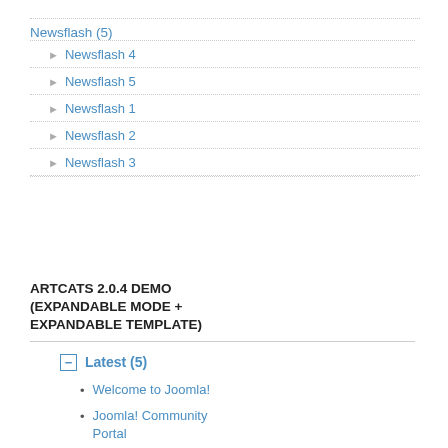Newsflash (5)
Newsflash 4
Newsflash 5
Newsflash 1
Newsflash 2
Newsflash 3
ARTCATS 2.0.4 DEMO (EXPANDABLE MODE + EXPANDABLE TEMPLATE)
Latest (5)
Welcome to Joomla!
Joomla! Community Portal
Joomla! Security Strike Team